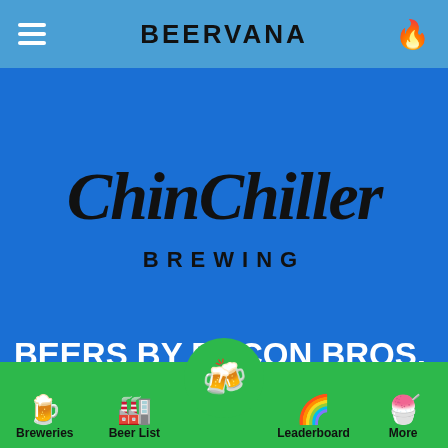BEERVANA
[Figure (logo): ChinChiller Brewing logo in cursive/script font on blue background]
BEERS BY BACON BROS, CHRISTCHURCH
Bacon Bros brew Action-Packed BEERS! They have just completed their 200 Beers in 200 Days project and are contracting a larg...
Breweries | Beer List | (center active) | Leaderboard | More